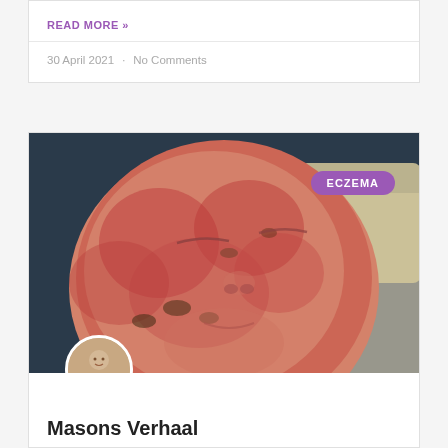READ MORE »
30 April 2021 · No Comments
[Figure (photo): Close-up photo of a baby's face with severe eczema rash — red, inflamed, blotchy skin covering the entire face. Baby appears to be sleeping. A purple badge labelled 'ECZEMA' appears in the top right corner of the image. A circular author avatar photo is overlaid at the bottom left of the image.]
Masons Verhaal